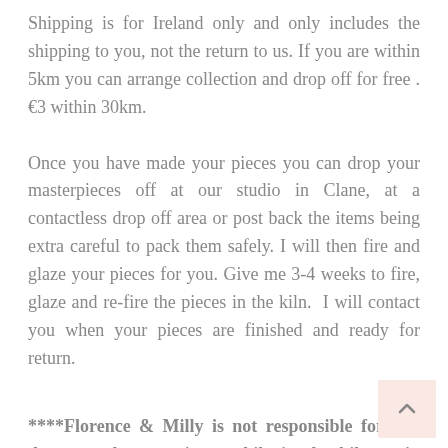Shipping is for Ireland only and only includes the shipping to you, not the return to us. If you are within 5km you can arrange collection and drop off for free . €3 within 30km.
Once you have made your pieces you can drop your masterpieces off at our studio in Clane, at a contactless drop off area or post back the items being extra careful to pack them safely. I will then fire and glaze your pieces for you. Give me 3-4 weeks to fire, glaze and re-fire the pieces in the kiln.  I will contact you when your pieces are finished and ready for return.
****Florence & Milly is not responsible for any damage taken to pieces while in the kiln or in transit to the studio. Although I